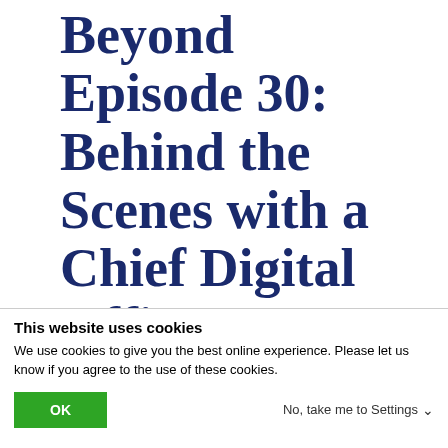Beyond Episode 30: Behind the Scenes with a Chief Digital Officer
This website uses cookies
We use cookies to give you the best online experience. Please let us know if you agree to the use of these cookies.
OK
No, take me to Settings